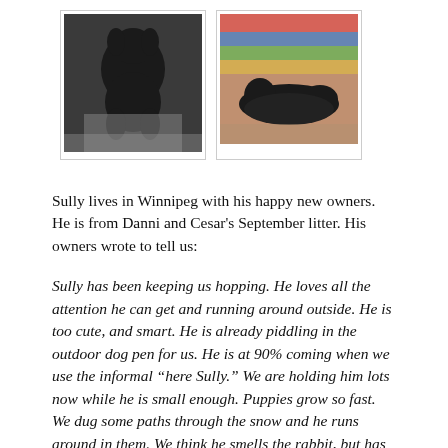[Figure (photo): Two photos of a black puppy named Sully. Left photo shows the puppy sitting on a gray surface. Right photo shows the puppy lying on a colorful blanket.]
Sully lives in Winnipeg with his happy new owners. He is from Danni and Cesar's September litter. His owners wrote to tell us:
Sully has been keeping us hopping. He loves all the attention he can get and running around outside. He is too cute, and smart. He is already piddling in the outdoor dog pen for us. He is at 90% coming when we use the informal “here Sully.” We are holding him lots now while he is small enough. Puppies grow so fast. We dug some paths through the snow and he runs around in them. We think he smells the rabbit, but has not seen it yet. He has noticed the birds including